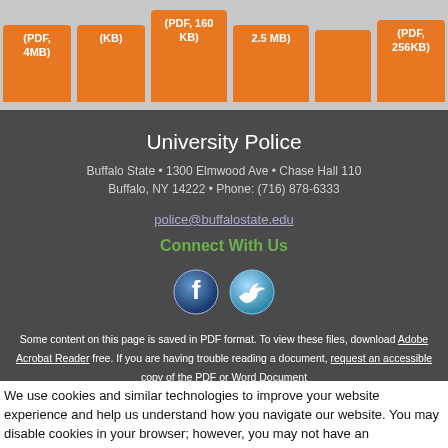[Figure (other): Orange navigation buttons partially visible at top: (PDF, 4MB), (KB), (PDF, 160 KB), 2.5 MB), (PDF, 256KB)]
University Police
Buffalo State • 1300 Elmwood Ave • Chase Hall 110
Buffalo, NY 14222 • Phone: (716) 878-6333
police@buffalostate.edu
Connect With Us
[Figure (other): Facebook and Twitter social media icon buttons]
Some content on this page is saved in PDF format. To view these files, download Adobe Acrobat Reader free. If you are having trouble reading a document, request an accessible copy of the PDF or Word Document
We use cookies and similar technologies to improve your website experience and help us understand how you navigate our website. You may disable cookies in your browser; however, you may not have an